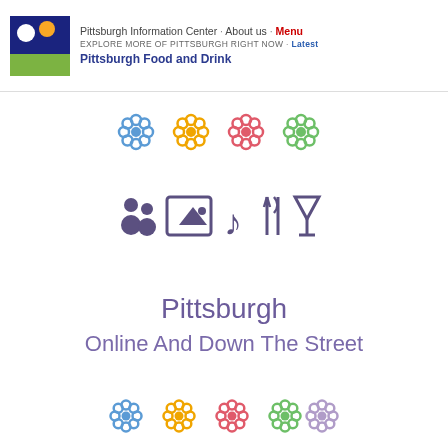Pittsburgh Information Center · About us · Menu | EXPLORE MORE OF PITTSBURGH RIGHT NOW · Latest | Pittsburgh Food and Drink
[Figure (illustration): Five decorative flower icons in a row: blue, orange/yellow, red/pink, green, and purple/lavender]
[Figure (illustration): Row of purple icons: two people silhouettes, a framed picture/image, a music note, a fork and knife (utensils), and a cocktail/martini glass]
Pittsburgh
Online And Down The Street
[Figure (illustration): Five decorative flower icons in a row: blue, orange/yellow, red/pink, green, and purple/lavender]